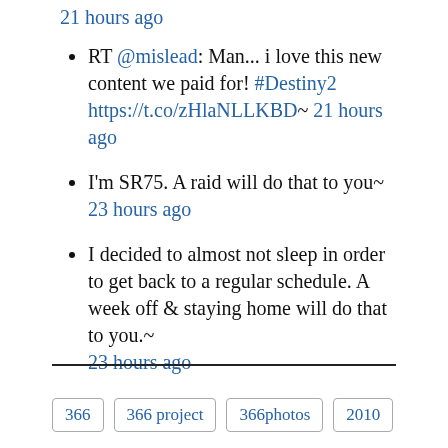21 hours ago
RT @mislead: Man... i love this new content we paid for! #Destiny2 https://t.co/zHlaNLLKBD~ 21 hours ago
I'm SR75. A raid will do that to you~ 23 hours ago
I decided to almost not sleep in order to get back to a regular schedule. A week off & staying home will do that to you.~ 23 hours ago
366  366 project  366photos  2010